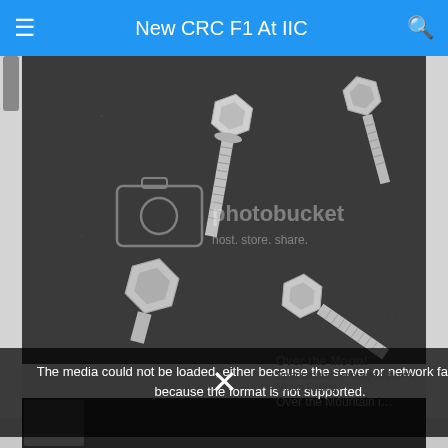New CRC F1 At IIC
[Figure (photo): Close-up photograph of metal hex bolts/screws on a dark grey surface, with a Photobucket watermark overlay reading 'photobucket host. store. share.']
The media could not be loaded, either because the server or network failed or because the format is not supported.
Over the Moon! Spectacular Footage Shows Moon Rising Over the Mountain i…